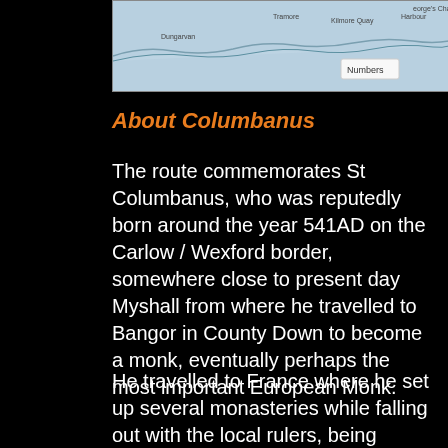[Figure (map): Map showing coastal area of Ireland including Dungarvan, Tramore, Kilmore Quay, Harbour labels, with a 'Numbers' button overlay]
About Columbanus
The route commemorates St Columbanus, who was reputedly born around the year 541AD on the Carlow / Wexford border, somewhere close to present day Myshall from where he travelled to Bangor in County Down to become a monk, eventually perhaps the most important European Monk.
He travelled to France where he set up several monasteries while falling out with the local rulers, being banished, returning, following a miraculous shipwreck and then